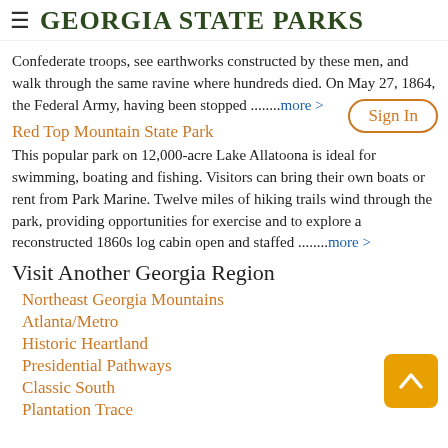≡ GEORGIA STATE PARKS
Sign In
Confederate troops, see earthworks constructed by these men, and walk through the same ravine where hundreds died. On May 27, 1864, the Federal Army, having been stopped ........more >
Red Top Mountain State Park
This popular park on 12,000-acre Lake Allatoona is ideal for swimming, boating and fishing. Visitors can bring their own boats or rent from Park Marine. Twelve miles of hiking trails wind through the park, providing opportunities for exercise and to explore a reconstructed 1860s log cabin open and staffed ........more >
Visit Another Georgia Region
Northeast Georgia Mountains
Atlanta/Metro
Historic Heartland
Presidential Pathways
Classic South
Plantation Trace